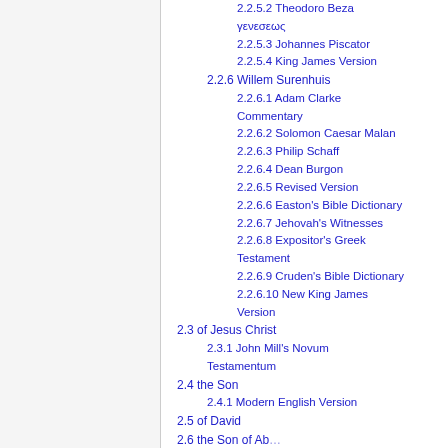2.2.5.2 Theodoro Beza γενεσεως
2.2.5.3 Johannes Piscator
2.2.5.4 King James Version
2.2.6 Willem Surenhuis
2.2.6.1 Adam Clarke Commentary
2.2.6.2 Solomon Caesar Malan
2.2.6.3 Philip Schaff
2.2.6.4 Dean Burgon
2.2.6.5 Revised Version
2.2.6.6 Easton's Bible Dictionary
2.2.6.7 Jehovah's Witnesses
2.2.6.8 Expositor's Greek Testament
2.2.6.9 Cruden's Bible Dictionary
2.2.6.10 New King James Version
2.3 of Jesus Christ
2.3.1 John Mill's Novum Testamentum
2.4 the Son
2.4.1 Modern English Version
2.5 of David
2.6 the Son of Abraham